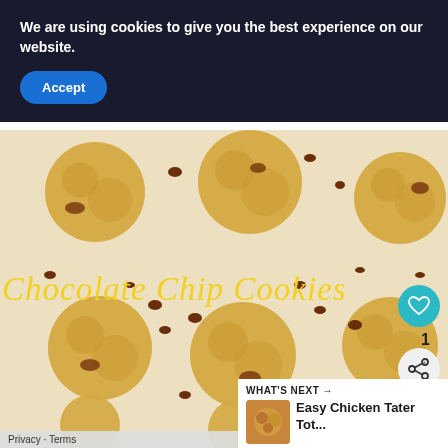We are using cookies to give you the best experience on our website.
Accept
[Figure (photo): Overhead flat-lay photo of chocolate chip cookies on parchment paper with scattered chocolate chips, with yellow italic text overlay reading 'Chocolate Chip Cookies']
WHAT'S NEXT → Easy Chicken Tater Tot...
Privacy · Terms